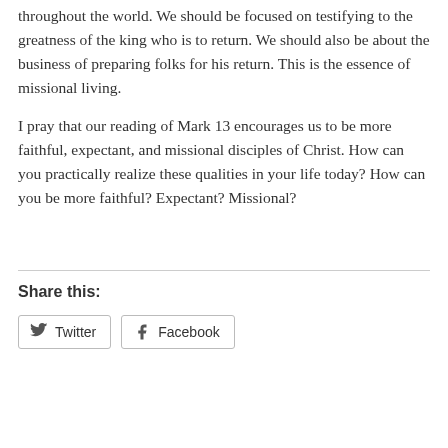throughout the world. We should be focused on testifying to the greatness of the king who is to return. We should also be about the business of preparing folks for his return. This is the essence of missional living.
I pray that our reading of Mark 13 encourages us to be more faithful, expectant, and missional disciples of Christ. How can you practically realize these qualities in your life today? How can you be more faithful? Expectant? Missional?
Share this:
Twitter  Facebook